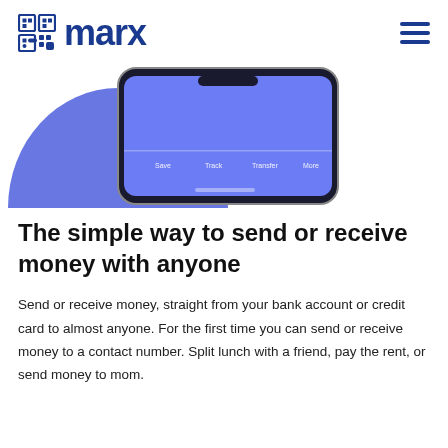marx
[Figure (screenshot): Smartphone screen showing the marx app interface with a blue background graphic and app navigation tabs, partially visible cropped at top]
The simple way to send or receive money with anyone
Send or receive money, straight from your bank account or credit card to almost anyone. For the first time you can send or receive money to a contact number. Split lunch with a friend, pay the rent, or send money to mom.